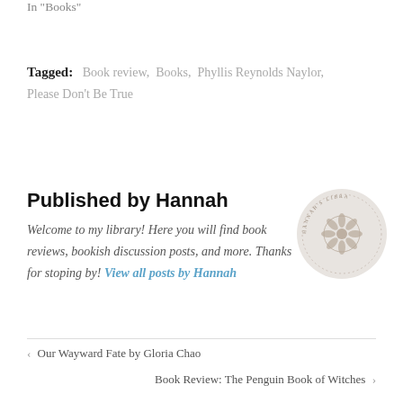In "Books"
Tagged: Book review, Books, Phyllis Reynolds Naylor, Please Don't Be True
Published by Hannah
Welcome to my library! Here you will find book reviews, bookish discussion posts, and more. Thanks for stoping by! View all posts by Hannah
[Figure (illustration): Circular logo/seal for Hannah's Library with floral emblem in center on light gray background]
‹ Our Wayward Fate by Gloria Chao
Book Review: The Penguin Book of Witches ›